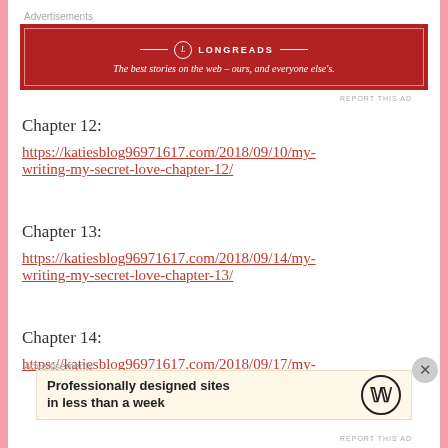Advertisements
[Figure (other): Longreads advertisement banner: dark red background with logo and tagline 'The best stories on the web – ours, and everyone else's.']
REPORT THIS AD
Chapter 12:
https://katiesblog96971617.com/2018/09/10/my-writing-my-secret-love-chapter-12/
Chapter 13:
https://katiesblog96971617.com/2018/09/14/my-writing-my-secret-love-chapter-13/
Chapter 14:
https://katiesblog96971617.com/2018/09/17/my-
Advertisements
[Figure (other): WordPress advertisement: 'Professionally designed sites in less than a week' with WordPress logo]
REPORT THIS AD